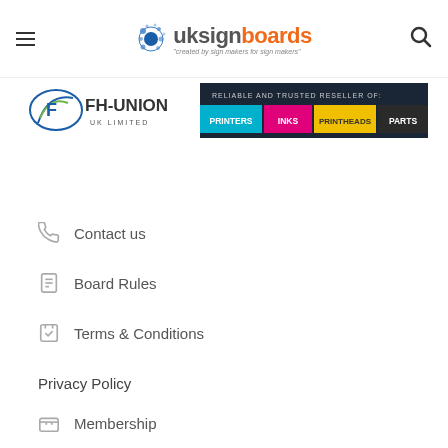uksignboards - created by sign makers for sign makers
[Figure (infographic): FH-Union UK Limited banner ad: Reliable and Trusted Reseller of Printers, Inks, Printheads, Parts]
Contact us
Board Rules
Terms & Conditions
Privacy Policy
Membership